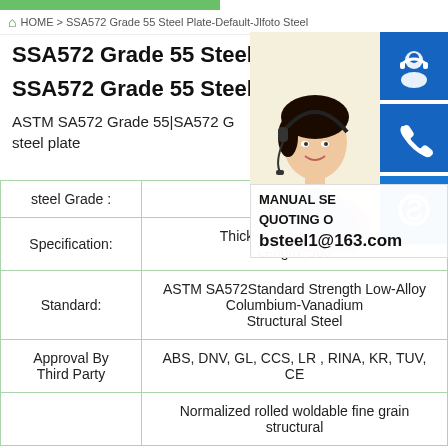HOME > SSA572 Grade 55 Steel Plate-Default-Jlfoto Steel
SSA572 Grade 55 Steel Plat
SSA572 Grade 55 Steel Plat
ASTM SA572 Grade 55|SA572 G steel plate
|  |  |
| --- | --- |
| steel Grade : | SA572 G |
| Specification: | Thickness 8mm-200mm
Length: 300 |
| Standard: | ASTM SA572Standard Strength Low-Alloy Columbium-Vanadium Structural Steel |
| Approval By Third Party | ABS, DNV, GL, CCS, LR , RINA, KR, TUV, CE |
|  | Normalized rolled woldable fine grain structural |
[Figure (photo): Customer service representative woman with headset, with blue icon buttons for chat, phone, and Skype on the right side, and a popup showing MANUAL SE... QUOTING O... bsteel1@163.com]